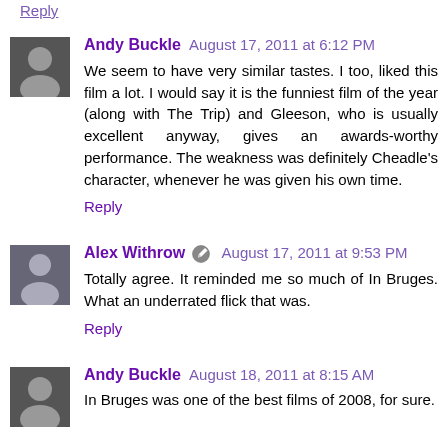Reply
Andy Buckle  August 17, 2011 at 6:12 PM
We seem to have very similar tastes. I too, liked this film a lot. I would say it is the funniest film of the year (along with The Trip) and Gleeson, who is usually excellent anyway, gives an awards-worthy performance. The weakness was definitely Cheadle's character, whenever he was given his own time.
Reply
Alex Withrow  August 17, 2011 at 9:53 PM
Totally agree. It reminded me so much of In Bruges. What an underrated flick that was.
Reply
Andy Buckle  August 18, 2011 at 8:15 AM
In Bruges was one of the best films of 2008, for sure.